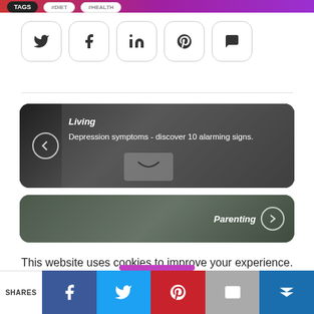TAGS #DIET #HEALTH
[Figure (screenshot): Social sharing icons row: Twitter, Facebook, LinkedIn, Pinterest, Comments]
[Figure (photo): Dark article card with back arrow, category 'Living', title 'Depression symptoms - discover 10 alarming signs.' with person holding smiley face card]
[Figure (photo): Dark article card with category 'Parenting' and forward arrow button]
This website uses cookies to improve your experience. We'll assume you're ok with this, but you can opt-out if you wish.
Shares | Facebook | Twitter | Pinterest | Email | More